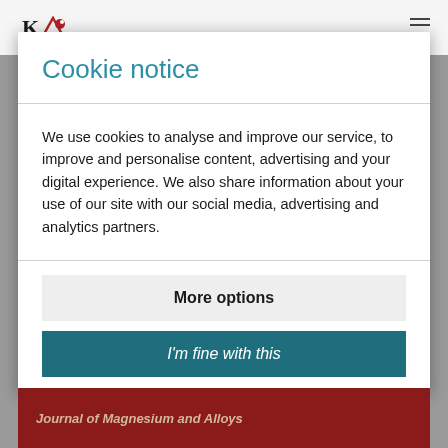Cookie notice
We use cookies to analyse and improve our service, to improve and personalise content, advertising and your digital experience. We also share information about your use of our site with our social media, advertising and analytics partners.
More options
I'm fine with this
Journal of Magnesium and Alloys